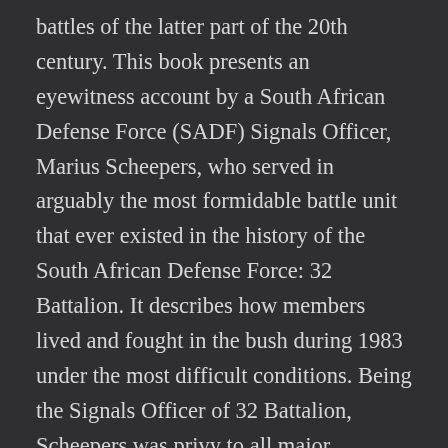battles of the latter part of the 20th century. This book presents an eyewitness account by a South African Defense Force (SADF) Signals Officer, Marius Scheepers, who served in arguably the most formidable battle unit that ever existed in the history of the South African Defense Force: 32 Battalion. It describes how members lived and fought in the bush during 1983 under the most difficult conditions. Being the Signals Officer of 32 Battalion, Scheepers was privy to all major command decisions of the time. Although he focuses primarily on operations during the year 1983, including Operations Snoek and Dolfyn, he includes concise descriptions of all other major operations that took place inside Angola between